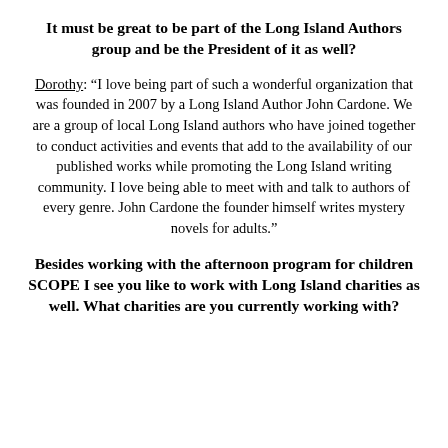It must be great to be part of the Long Island Authors group and be the President of it as well?
Dorothy: “I love being part of such a wonderful organization that was founded in 2007 by a Long Island Author John Cardone. We are a group of local Long Island authors who have joined together to conduct activities and events that add to the availability of our published works while promoting the Long Island writing community. I love being able to meet with and talk to authors of every genre. John Cardone the founder himself writes mystery novels for adults.”
Besides working with the afternoon program for children SCOPE I see you like to work with Long Island charities as well. What charities are you currently working with?